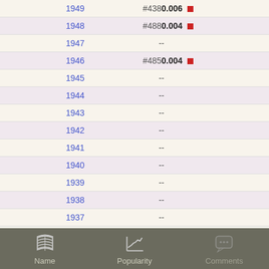| Year | Rank | Score |
| --- | --- | --- |
| 1949 | #438 | 0.006 |
| 1948 | #488 | 0.004 |
| 1947 | - | - |
| 1946 | #485 | 0.004 |
| 1945 | - | - |
| 1944 | - | - |
| 1943 | - | - |
| 1942 | - | - |
| 1941 | - | - |
| 1940 | - | - |
| 1939 | - | - |
| 1938 | - | - |
| 1937 | - | - |
Name  Popularity  Comments